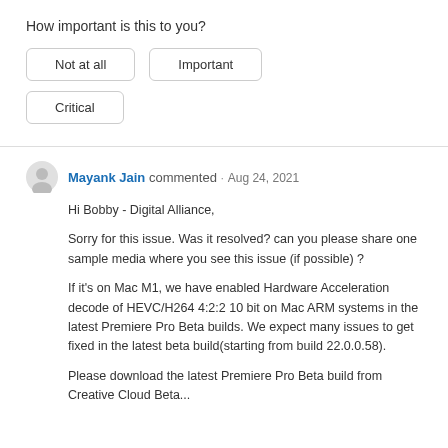How important is this to you?
Not at all
Important
Critical
Mayank Jain commented · Aug 24, 2021
Hi Bobby - Digital Alliance,

Sorry for this issue. Was it resolved? can you please share one sample media where you see this issue (if possible) ?

If it's on Mac M1, we have enabled Hardware Acceleration decode of HEVC/H264 4:2:2 10 bit on Mac ARM systems in the latest Premiere Pro Beta builds. We expect many issues to get fixed in the latest beta build(starting from build 22.0.0.58).

Please download the latest Premiere Pro Beta build from Creative Cloud Beta...